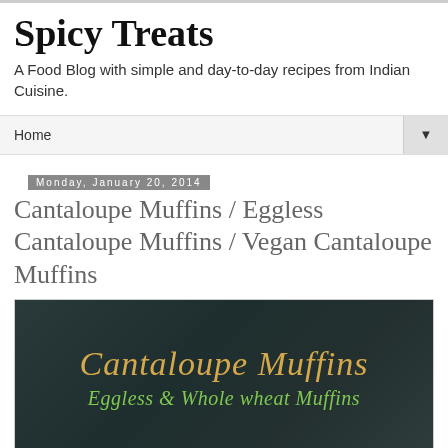Spicy Treats
A Food Blog with simple and day-to-day recipes from Indian Cuisine.
Home ▼
Monday, January 20, 2014
Cantaloupe Muffins / Eggless Cantaloupe Muffins / Vegan Cantaloupe Muffins
[Figure (photo): Chalkboard style image with cursive text reading 'Cantaloupe Muffins' in orange/gold and 'Eggless & Whole wheat Muffins' in green below it, on a dark teal/chalkboard background.]